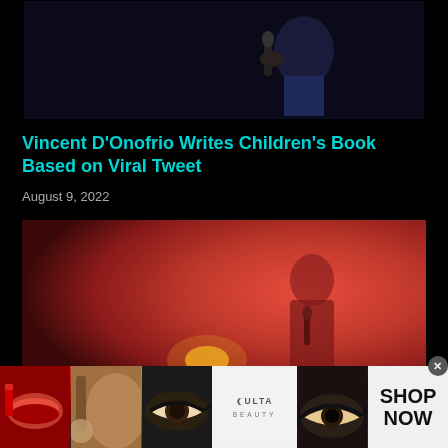[Figure (photo): Top cropped photo showing a person in a blue jacket holding a microphone against a dark background]
Vincent D'Onofrio Writes Children's Book Based on Viral Tweet
August 9, 2022
[Figure (photo): Person standing in front of a red background holding a microphone, with a warm lamp light visible in the background]
[Figure (photo): Ulta Beauty advertisement banner showing makeup images: lips with lipstick, makeup brush, eye with bold liner, Ulta Beauty logo, eye with dramatic makeup, and SHOP NOW call to action]